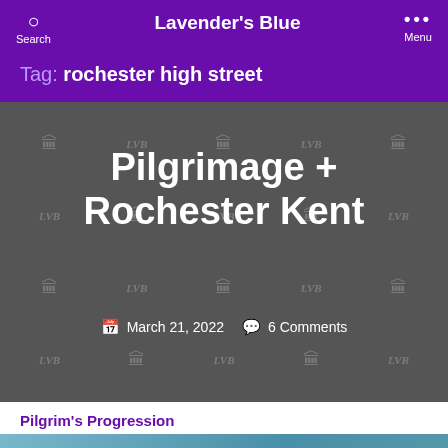Lavender's Blue
Tag: rochester high street
[Figure (screenshot): Dark gray watermarked article card with LVB and building logos as watermark pattern, containing the article title 'Pilgrimage + Rochester Kent' and metadata showing March 21, 2022 and 6 Comments]
Pilgrim's Progression